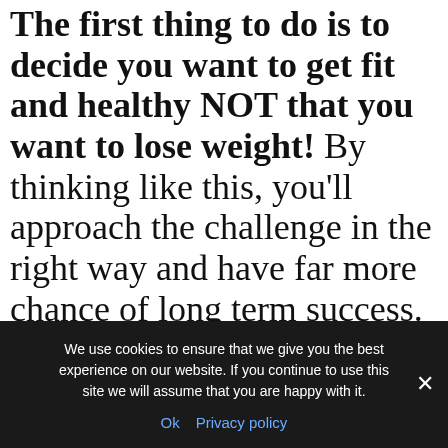The first thing to do is to decide you want to get fit and healthy NOT that you want to lose weight! By thinking like this, you'll approach the challenge in the right way and have far more chance of long term success. Stabilising your weight so that you NEVER have to worry about it again will come as a by product of your new healthy
We use cookies to ensure that we give you the best experience on our website. If you continue to use this site we will assume that you are happy with it. Ok Privacy policy